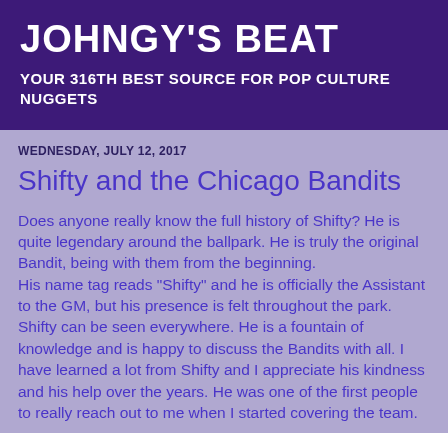JOHNGY'S BEAT
YOUR 316TH BEST SOURCE FOR POP CULTURE NUGGETS
WEDNESDAY, JULY 12, 2017
Shifty and the Chicago Bandits
Does anyone really know the full history of Shifty?  He is quite legendary around the ballpark.  He is truly the original Bandit, being with them from the beginning.
His name tag reads "Shifty" and he is officially the Assistant to the GM, but his presence is felt throughout the park.  Shifty can be seen everywhere.  He is a fountain of knowledge and is happy to discuss the Bandits with all.  I have learned a lot from Shifty and I appreciate his kindness and his help over the years.  He was one of the first people to really reach out to me when I started covering the team.